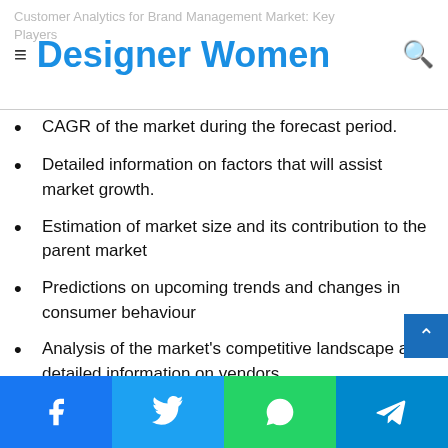Designer Women
CAGR of the market during the forecast period.
Detailed information on factors that will assist market growth.
Estimation of market size and its contribution to the parent market
Predictions on upcoming trends and changes in consumer behaviour
Analysis of the market's competitive landscape and detailed information on vendors
Comprehensive details of factors that will challenge the growth of market vendors